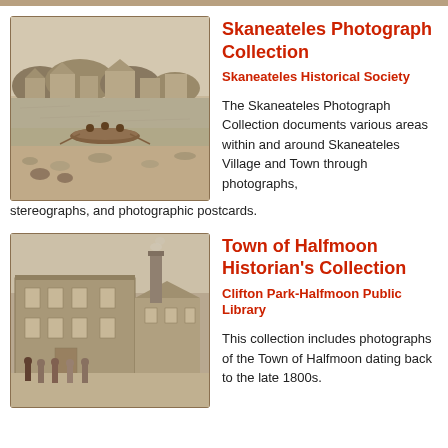[Figure (photo): Sepia-toned historical photograph of Skaneateles Lake with a rowboat in the foreground and buildings along the shoreline in the background.]
Skaneateles Photograph Collection
Skaneateles Historical Society
The Skaneateles Photograph Collection documents various areas within and around Skaneateles Village and Town through photographs, stereographs, and photographic postcards.
[Figure (photo): Sepia-toned historical photograph of a large brick building, likely a mill or factory, with a chimney and group of people standing in front.]
Town of Halfmoon Historian's Collection
Clifton Park-Halfmoon Public Library
This collection includes photographs of the Town of Halfmoon dating back to the late 1800s.